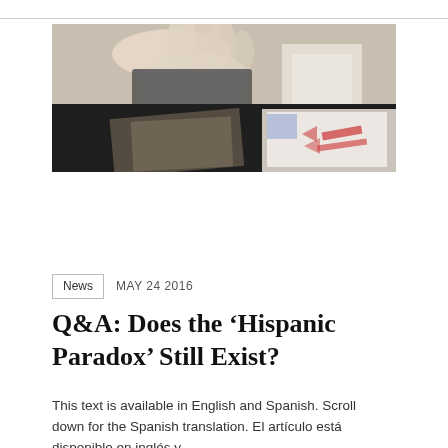[Figure (photo): Hero image showing a hand near papers/books with an orange banner overlay reading RESEARCH]
News   MAY 24 2016
Q&A: Does the ‘Hispanic Paradox’ Still Exist?
This text is available in English and Spanish. Scroll down for the Spanish translation. El artículo está disponible en inglés y